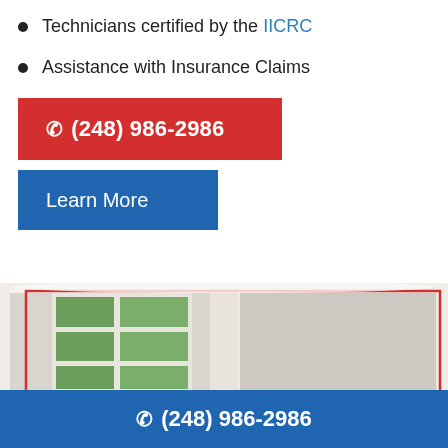Technicians certified by the IICRC
Assistance with Insurance Claims
(248) 986-2986
Learn More
[Figure (photo): Interior room with white-framed multi-pane window showing greenery outside, beige walls, shown as open book/report illustration with red border overlay]
(248) 986-2986